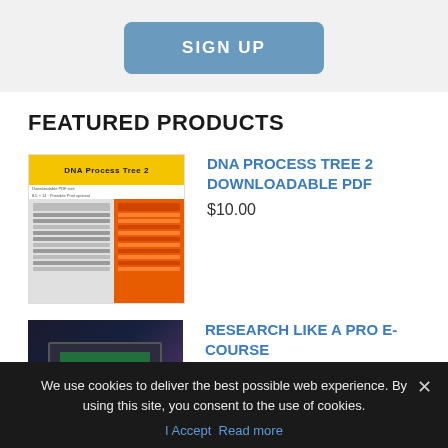[Figure (other): Blue rounded rectangle button labeled SIGN UP]
FEATURED PRODUCTS
[Figure (illustration): DNA Process Tree 2 product thumbnail showing yellow header bar and two-column orange/grey content layout]
DNA PROCESS TREE 2 DOWNLOADABLE PDF
$10.00
[Figure (photo): Research Like a Pro e-course thumbnail showing a dark purple/black background with a laptop/monitor screen]
RESEARCH LIKE A PRO E-COURSE
★★★★★ $125.00
We use cookies to deliver the best possible web experience. By using this site, you consent to the use of cookies.
I Accept   Read more